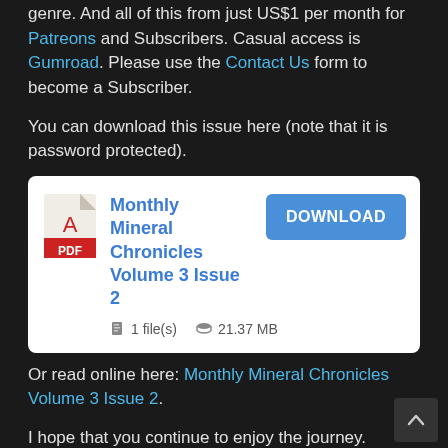genre. And all of this from just US$1 per month for Patreons and Subscribers. Casual access is Gumroad. Please use the Contact Us form to become a Subscriber.
You can download this issue here (note that it is password protected).
[Figure (other): Download card for Monthly Mineral Chronicles Volume 3 Issue 2 PDF file. Shows PDF icon, title, file count (1 file(s)), size (21.37 MB), and a DOWNLOAD button.]
Or read online here: Monthly Mineral Chronicles Volume 3 Issue 2.
I hope that you continue to enjoy the journey.